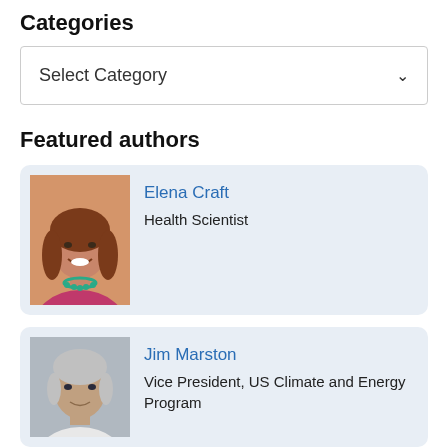Categories
[Figure (screenshot): Dropdown selector box with 'Select Category' placeholder text and a chevron arrow on the right]
Featured authors
[Figure (photo): Headshot photo of Elena Craft, a woman with reddish-brown hair, smiling, wearing a pink top and turquoise necklace, against an orange/tan background]
Elena Craft
Health Scientist
[Figure (photo): Headshot photo of Jim Marston, an older man with gray hair, against a gray background, wearing a white shirt]
Jim Marston
Vice President, US Climate and Energy Program